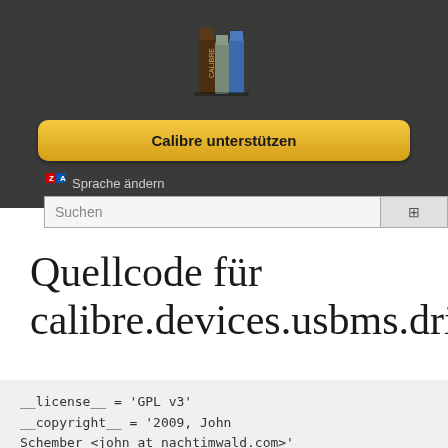[Figure (logo): Calibre application logo showing a stack of books]
Calibre unterstützen
Sprache ändern
Suchen
Quellcode für calibre.devices.usbms.dri
__license__  = 'GPL v3'
__copyright__ = '2009, John Schember <john at nachtimwald.com>'